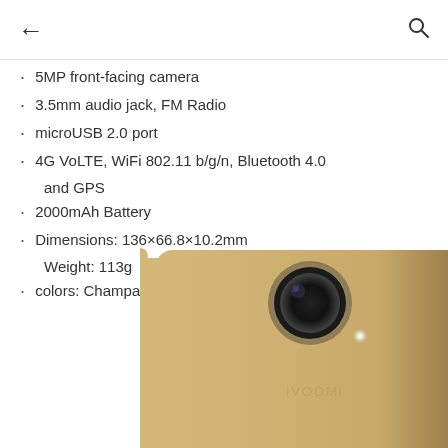← [back] [search icon]
5MP front-facing camera
3.5mm audio jack, FM Radio
microUSB 2.0 port
4G VoLTE, WiFi 802.11 b/g/n, Bluetooth 4.0 and GPS
2000mAh Battery
Dimensions: 136×66.8×10.2mm Weight: 113g
colors: Champagne Gold and Black
[Figure (photo): Back view of iVOOMi smartphone in champagne gold color showing camera lens and iVOOMi branding]